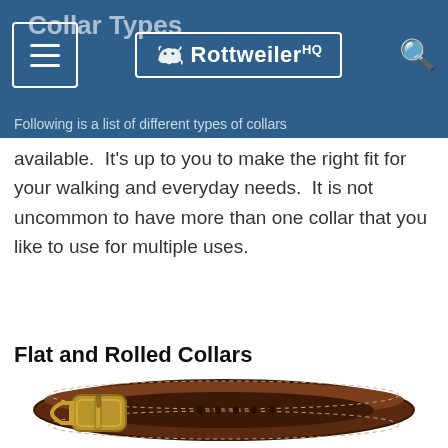RottweilerHQ
Collar Types
Following is a list of different types of collars available.  It's up to you to make the right fit for your walking and everyday needs.  It is not uncommon to have more than one collar that you like to use for multiple uses.
Flat and Rolled Collars
[Figure (photo): Close-up photo of a brown leather dog collar with a gold/brass D-ring buckle, shown from above on a white background.]